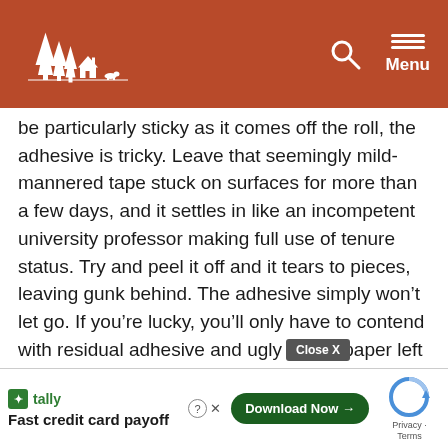Website header with logo and navigation menu
be particularly sticky as it comes off the roll, the adhesive is tricky. Leave that seemingly mild-mannered tape stuck on surfaces for more than a few days, and it settles in like an incompetent university professor making full use of tenure status. Try and peel it off and it tears to pieces, leaving gunk behind. The adhesive simply won't let go. If you're lucky, you'll only have to contend with residual adhesive and ugly bits of paper left on walls. Masking tape left too long can also damage drywall by peeling off the surface layer of paper, along with the tape.
PAINTERS TAPE
[Figure (screenshot): Advertisement overlay with Tally app ad showing 'Fast credit card payoff' with Download Now button, Close X button, help/close icons, and reCAPTCHA widget]